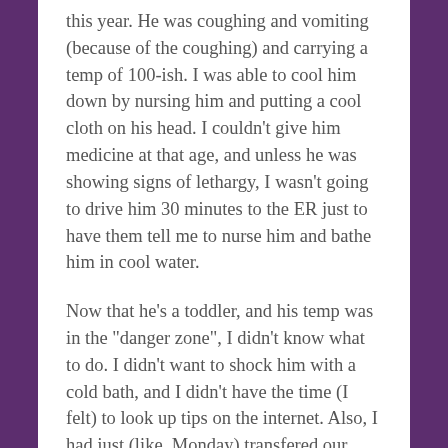this year. He was coughing and vomiting (because of the coughing) and carrying a temp of 100-ish. I was able to cool him down by nursing him and putting a cool cloth on his head. I couldn't give him medicine at that age, and unless he was showing signs of lethargy, I wasn't going to drive him 30 minutes to the ER just to have them tell me to nurse him and bathe him in cool water.
Now that he's a toddler, and his temp was in the “danger zone”, I didn't know what to do. I didn't want to shock him with a cold bath, and I didn't have the time (I felt) to look up tips on the internet. Also, I had just (like, Monday) transfered our TriCare insurance to US (Uniformed Services) Family Health Plan, a